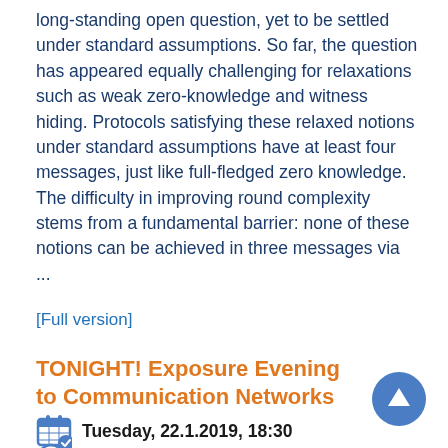long-standing open question, yet to be settled under standard assumptions. So far, the question has appeared equally challenging for relaxations such as weak zero-knowledge and witness hiding. Protocols satisfying these relaxed notions under standard assumptions have at least four messages, just like full-fledged zero knowledge. The difficulty in improving round complexity stems from a fundamental barrier: none of these notions can be achieved in three messages via ...
[Full version]
TONIGHT! Exposure Evening to Communication Networks
Tuesday, 22.1.2019, 18:30
Room 337 Taub Bld.
The CS Computer Communication Lab (LCCN) invites you